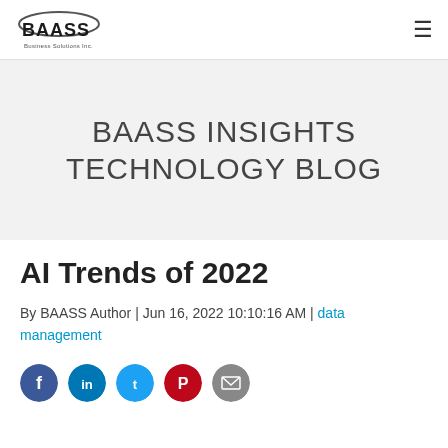[Figure (logo): BAASS Business Solutions Inc. logo — stylized text with an oval arc above]
≡ (hamburger menu icon)
BAASS INSIGHTS TECHNOLOGY BLOG
AI Trends of 2022
By BAASS Author | Jun 16, 2022 10:10:16 AM | data management
[Figure (illustration): Row of social media share icons: Facebook (blue), LinkedIn (dark blue), Twitter (teal), Pinterest (red), Email/envelope (grey)]